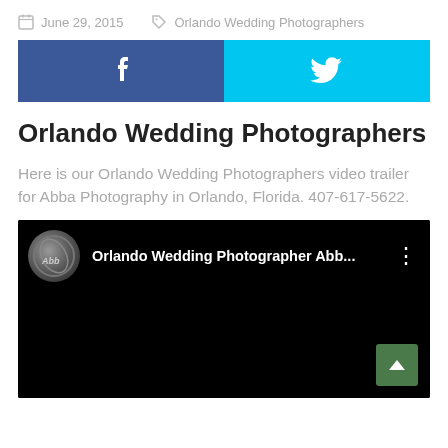June 29, 2015   Orlando Wedding Photographers
[Figure (infographic): Social share buttons: Facebook (blue, 'f' icon) and Twitter (cyan, bird icon)]
Orlando Wedding Photographers
Here is our Orlando Wedding Photographers video trailer for Abba Photography in Orlando, Florida. 407-617-5622.
[Figure (screenshot): YouTube video embed screenshot showing 'Orlando Wedding Photographer Abb...' with channel logo and three-dot menu. Video area is black with a green scroll-to-top button in the bottom right.]